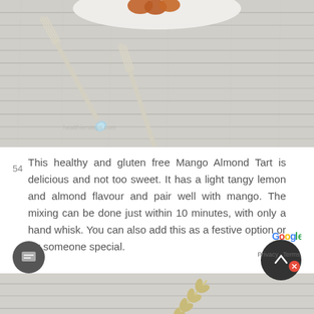[Figure (photo): Top portion of a food photo showing two decorative forks with blue crystal handles resting on a weathered white wood surface, with a white plate of food visible at the top edge]
This healthy and gluten free Mango Almond Tart is delicious and not too sweet. It has a light tangy lemon and almond flavour and pair well with mango. The mixing can be done just within 10 minutes, with only a hand whisk. You can also add this as a festive option or for someone special.
[Figure (photo): Bottom portion of a food photo showing a white heart-shaped dish with a Mango Almond Tart dusted with powdered sugar, a wheat stalk prop beside it, on a weathered white wood background]
54